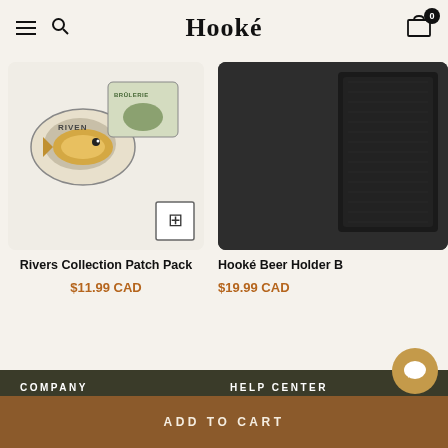Hooké
[Figure (photo): Product card showing Rivers Collection Patch Pack — fishing-themed embroidered patches on light background]
Rivers Collection Patch Pack
$11.99 CAD
[Figure (photo): Product card showing Hooké Beer Holder B — dark/black fabric product on dark background]
Hooké Beer Holder B
$19.99 CAD
COMPANY
About us
Find a retailer
HELP CENTER
Shipping policy
Return policy
ADD TO CART